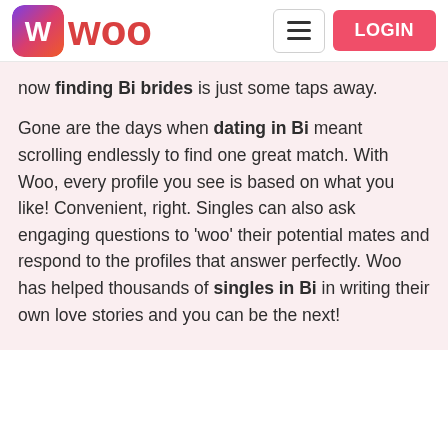WOO — Navigation bar with logo, hamburger menu, and LOGIN button
now finding Bi brides is just some taps away.
Gone are the days when dating in Bi meant scrolling endlessly to find one great match. With Woo, every profile you see is based on what you like! Convenient, right. Singles can also ask engaging questions to 'woo' their potential mates and respond to the profiles that answer perfectly. Woo has helped thousands of singles in Bi in writing their own love stories and you can be the next!
Find Bi Brides By